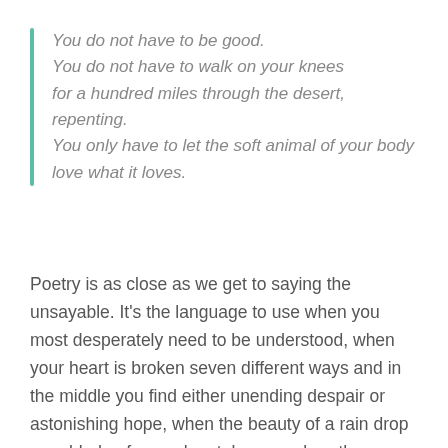You do not have to be good.
You do not have to walk on your knees
for a hundred miles through the desert, repenting.
You only have to let the soft animal of your body
love what it loves.
Poetry is as close as we get to saying the unsayable. It's the language to use when you most desperately need to be understood, when your heart is broken seven different ways and in the middle you find either unending despair or astonishing hope, when the beauty of a rain drop on a blade of grass has taken your breath away or reminded you of your own mortality or both.